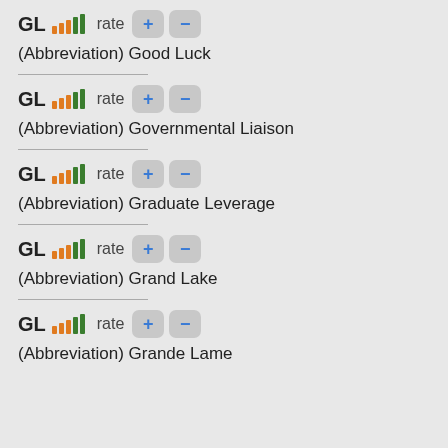GL rate + -
(Abbreviation) Good Luck
GL rate + -
(Abbreviation) Governmental Liaison
GL rate + -
(Abbreviation) Graduate Leverage
GL rate + -
(Abbreviation) Grand Lake
GL rate + -
(Abbreviation) Grande Lame